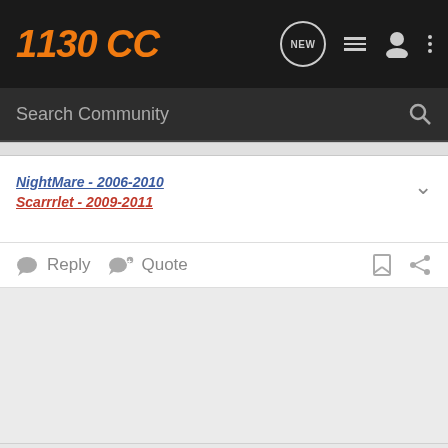1130CC
Search Community
NightMare - 2006-2010
Scarrrlet - 2009-2011
Reply  Quote
dbeadling · Registered
Joined Mar 10, 2004 · 260 Posts
#5 · Jul 10, 2007